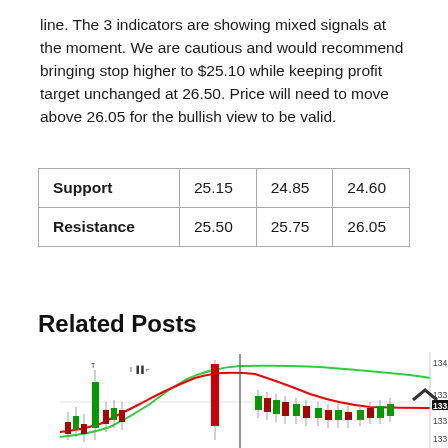line. The 3 indicators are showing mixed signals at the moment. We are cautious and would recommend bringing stop higher to $25.10 while keeping profit target unchanged at 26.50. Price will need to move above 26.05 for the bullish view to be valid.
|  |  |  |  |
| --- | --- | --- | --- |
| Support | 25.15 | 24.85 | 24.60 |
| Resistance | 25.50 | 25.75 | 26.05 |
Related Posts
[Figure (other): Candlestick chart showing price action with red and green candles, a green moving average curve and a red moving average curve, with price levels 134.170, 133.590, 133.440, 133.010 labeled on right axis]